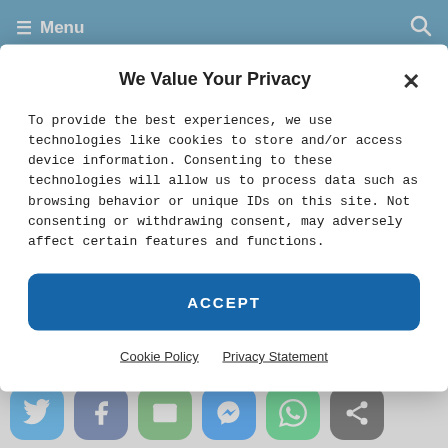Menu
DFIR News!
Join the Forensic Focus
We Value Your Privacy
To provide the best experiences, we use technologies like cookies to store and/or access device information. Consenting to these technologies will allow us to process data such as browsing behavior or unique IDs on this site. Not consenting or withdrawing consent, may adversely affect certain features and functions.
ACCEPT
Cookie Policy   Privacy Statement
respect your privacy - read our privacy policy.